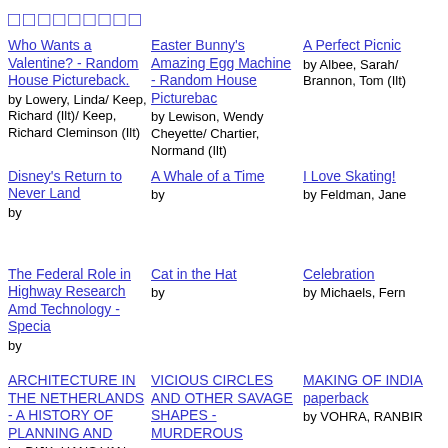□□□□□□□□□
Who Wants a Valentine? - Random House Pictureback.
by Lowery, Linda/ Keep, Richard (Ilt)/ Keep, Richard Cleminson (Ilt)
Easter Bunny's Amazing Egg Machine - Random House Picturebac
by Lewison, Wendy Cheyette/ Chartier, Normand (Ilt)
A Perfect Picnic
by Albee, Sarah/ Brannon, Tom (Ilt)
Disney's Return to Never Land
by
A Whale of a Time
by
I Love Skating!
by Feldman, Jane
The Federal Role in Highway Research Amd Technology - Specia
by
Cat in the Hat
by
Celebration
by Michaels, Fern
ARCHITECTURE IN THE NETHERLANDS - A HISTORY OF PLANNING AND
by DIJK, HANS VAN
VICIOUS CIRCLES AND OTHER SAVAGE SHAPES - MURDEROUS
MAKING OF INDIA paperback
by VOHRA, RANBIR